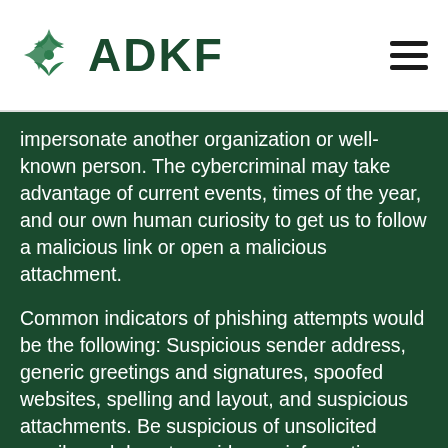ADKF
impersonate another organization or well-known person. The cybercriminal may take advantage of current events, times of the year, and our own human curiosity to get us to follow a malicious link or open a malicious attachment.
Common indicators of phishing attempts would be the following: Suspicious sender address, generic greetings and signatures, spoofed websites, spelling and layout, and suspicious attachments. Be suspicious of unsolicited emails and do not provide any information unless you are sure of the legitimacy. If you're suspicious of an email, try calling the sender to verify the email, but never use a phone number from a suspicious email. If you come across a phishing email, you should report it to your